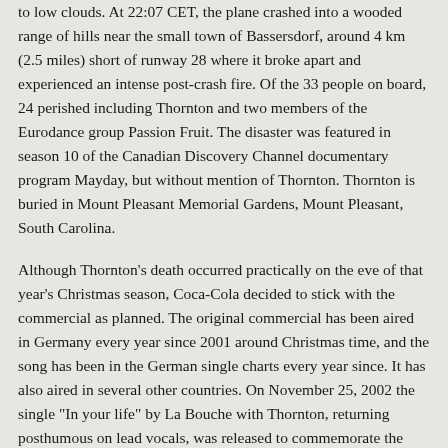to low clouds. At 22:07 CET, the plane crashed into a wooded range of hills near the small town of Bassersdorf, around 4 km (2.5 miles) short of runway 28 where it broke apart and experienced an intense post-crash fire. Of the 33 people on board, 24 perished including Thornton and two members of the Eurodance group Passion Fruit. The disaster was featured in season 10 of the Canadian Discovery Channel documentary program Mayday, but without mention of Thornton. Thornton is buried in Mount Pleasant Memorial Gardens, Mount Pleasant, South Carolina.
Although Thornton's death occurred practically on the eve of that year's Christmas season, Coca-Cola decided to stick with the commercial as planned. The original commercial has been aired in Germany every year since 2001 around Christmas time, and the song has been in the German single charts every year since. It has also aired in several other countries. On November 25, 2002 the single "In your life" by La Bouche with Thornton, returning posthumous on lead vocals, was released to commemorate the first anniversary of her death. Included is an "in memory" dedication from Lane McCray and SonyBmg/X-Cell Records. The single has been included in the first La